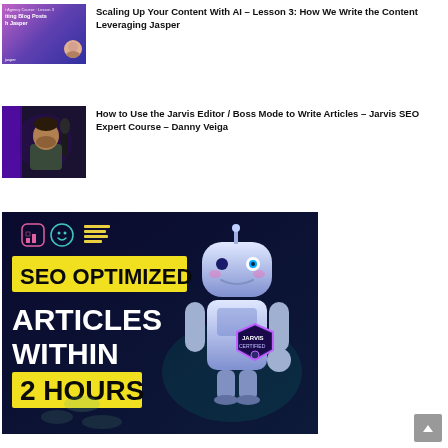[Figure (screenshot): Thumbnail for video course about scaling content with AI using Jasper, purple gradient background with avatar]
Scaling Up Your Content With AI – Lesson 3: How We Write the Content Leveraging Jasper
[Figure (screenshot): Thumbnail showing a man with a podcast microphone in a dark studio setting]
How to Use the Jarvis Editor / Boss Mode to Write Articles – Jarvis SEO Expert Course – Danny Veiga
[Figure (infographic): Dark blue banner ad with robot illustration. Text: SEO OPTIMIZED ARTICLES WITHIN 2 HOURS. Icons for tools at top. Jarvis Certified badge.]